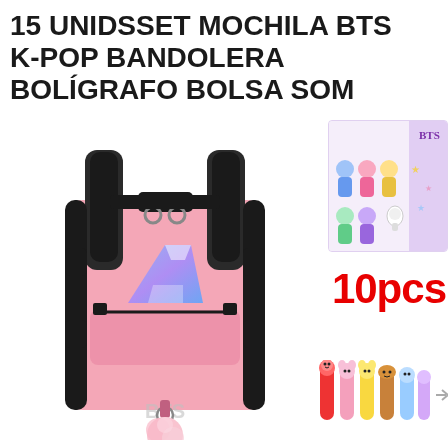15 UNIDSSET MOCHILA BTS K-POP BANDOLERA BOLÍGRAFO BOLSA SOM
[Figure (photo): Product photo showing a pink BTS K-pop backpack with black straps, BTS logo on front, metal ring keychain, pink pom-pom, and partial view of colorful BTS character pens and a BTS sticker/chibi character card set. Text '10pcs' in red on the right side.]